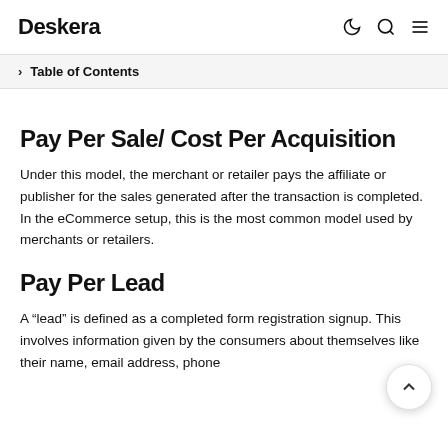Deskera
Table of Contents
Pay Per Sale/ Cost Per Acquisition
Under this model, the merchant or retailer pays the affiliate or publisher for the sales generated after the transaction is completed. In the eCommerce setup, this is the most common model used by merchants or retailers.
Pay Per Lead
A “lead” is defined as a completed form registration signup. This involves information given by the consumers about themselves like their name, email address, phone